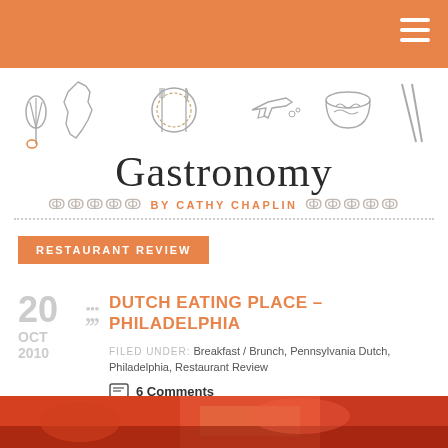Gastronomy by Cathy Chaplin - blog header
[Figure (illustration): Row of hand-drawn food and travel icons: whisk, California map, plate with fork and knife, airplane, noodle bowl, chopsticks]
Gastronomy
BY CATHY CHAPLIN
RESTAURANT REVIEW
20 OCT 2010
DUTCH EATING PLACE – PHILADELPHIA
FILED UNDER: Breakfast / Brunch, Pennsylvania Dutch, Philadelphia, Restaurant Review
6 Comments
[Figure (photo): Bottom strip showing partial photo of colorful food/restaurant scene with red and orange tones]